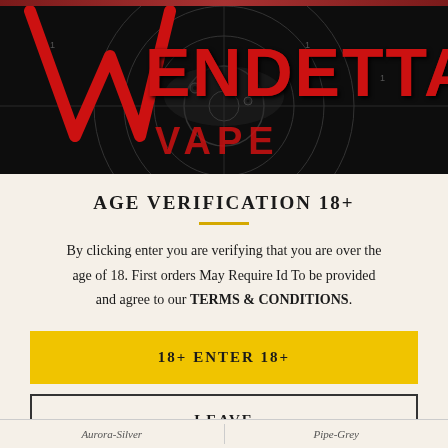[Figure (logo): Vendetta Vape logo banner on dark/black background with red grunge text reading VENDETTA and VAPE, with target/crosshair graphic elements]
AGE VERIFICATION 18+
By clicking enter you are verifying that you are over the age of 18. First orders May Require Id To be provided and agree to our TERMS & CONDITIONS.
18+ ENTER 18+
LEAVE
Aurora-Silver | Pipe-Grey